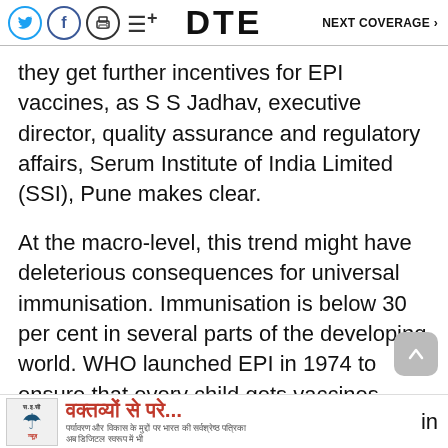DTE  NEXT COVERAGE >
they get further incentives for EPI vaccines, as S S Jadhav, executive director, quality assurance and regulatory affairs, Serum Institute of India Limited (SSI), Pune makes clear.
At the macro-level, this trend might have deleterious consequences for universal immunisation. Immunisation is below 30 per cent in several parts of the developing world. WHO launched EPI in 1974 to ensure that every child gets vaccines against the six con... in